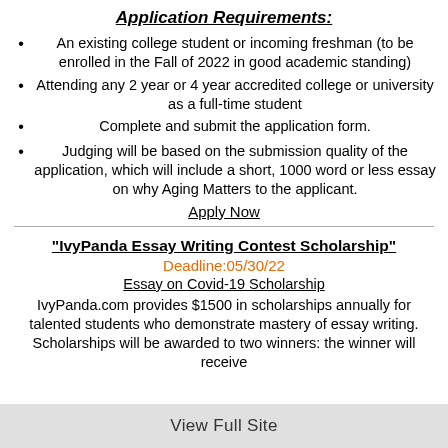Application Requirements:
An existing college student or incoming freshman (to be enrolled in the Fall of 2022 in good academic standing)
Attending any 2 year or 4 year accredited college or university as a full-time student
Complete and submit the application form.
Judging will be based on the submission quality of the application, which will include a short, 1000 word or less essay on why Aging Matters to the applicant.
Apply Now
"IvyPanda Essay Writing Contest Scholarship"
Deadline:05/30/22
Essay on Covid-19 Scholarship
IvyPanda.com provides $1500 in scholarships annually for talented students who demonstrate mastery of essay writing. Scholarships will be awarded to two winners: the winner will receive
View Full Site